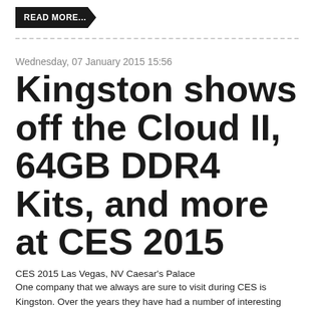READ MORE...
Kingston shows off the Cloud II, 64GB DDR4 Kits, and more at CES 2015
Wednesday, 07 January 2015 15:56
CES 2015 Las Vegas, NV Caesar's Palace
One company that we always are sure to visit during CES is Kingston. Over the years they have had a number of interesting